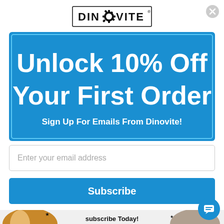[Figure (logo): Dinovite logo with gear icon replacing the O in DINOVITE]
[Figure (infographic): Blue promotional box with white text reading 'Unlock 10% Off Your First Order' and 'Sign Up For Emails From Dinovite!']
Enter your email address
Subscribe
[Figure (illustration): Bottom image showing a dog on the left, a cat on the right, and hand-lettered text 'subscribe Today!' in the center with decorative stars]